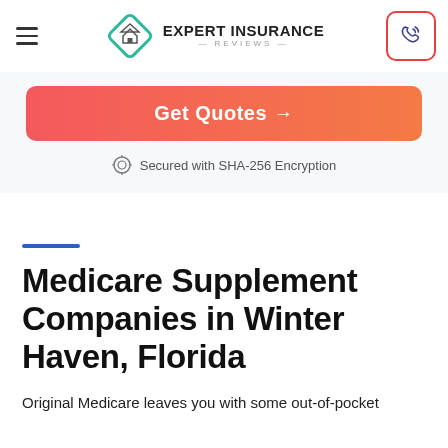Expert Insurance Reviews
[Figure (logo): Expert Insurance Reviews logo with diamond house icon and text]
[Figure (other): Phone/call button icon with red border in top right corner]
[Figure (other): Get Quotes button with orange-red gradient]
Secured with SHA-256 Encryption
Medicare Supplement Companies in Winter Haven, Florida
Original Medicare leaves you with some out-of-pocket